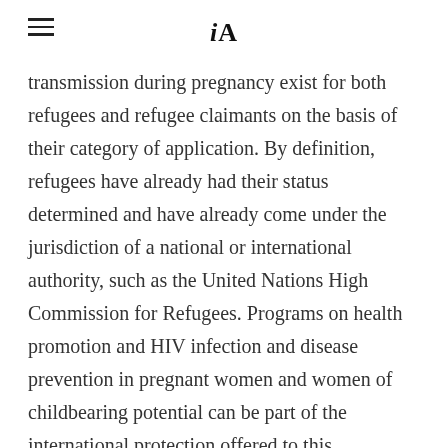iA
transmission during pregnancy exist for both refugees and refugee claimants on the basis of their category of application. By definition, refugees have already had their status determined and have already come under the jurisdiction of a national or international authority, such as the United Nations High Commission for Refugees. Programs on health promotion and HIV infection and disease prevention in pregnant women and women of childbearing potential can be part of the international protection offered to this vulnerable population (30). In this study, 72% of all pediatric HIV infections were in the refugee category.